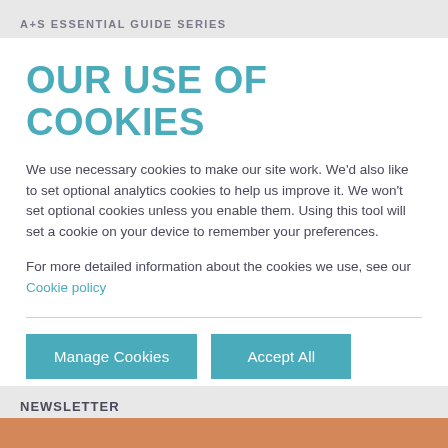A+S ESSENTIAL GUIDE SERIES
OUR USE OF COOKIES
We use necessary cookies to make our site work. We'd also like to set optional analytics cookies to help us improve it. We won't set optional cookies unless you enable them. Using this tool will set a cookie on your device to remember your preferences.
For more detailed information about the cookies we use, see our Cookie policy
Manage Cookies
Accept All
NEWSLETTER